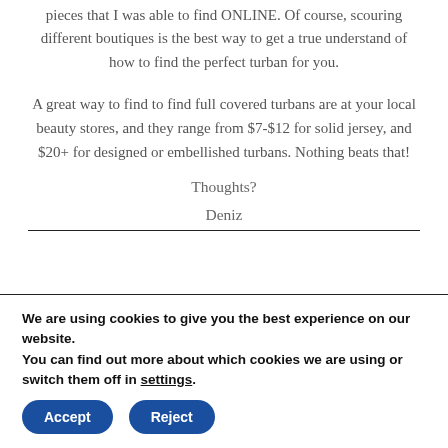pieces that I was able to find ONLINE. Of course, scouring different boutiques is the best way to get a true understand of how to find the perfect turban for you.
A great way to find to find full covered turbans are at your local beauty stores, and they range from $7-$12 for solid jersey, and $20+ for designed or embellished turbans. Nothing beats that!
Thoughts?
Deniz
We are using cookies to give you the best experience on our website.
You can find out more about which cookies we are using or switch them off in settings.
Accept
Reject